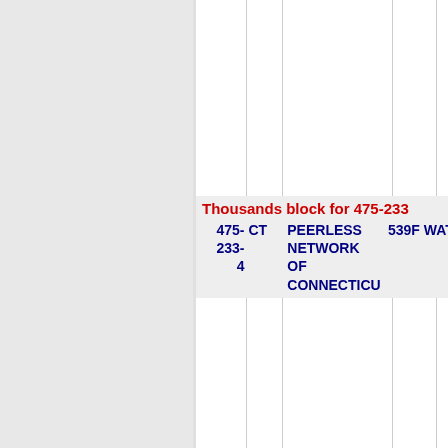Thousands block for 475-233
| Number | State | Name | Code | Type |
| --- | --- | --- | --- | --- |
| 475-233-4 | CT | PEERLESS NETWORK OF CONNECTICU | 539F | WATER |